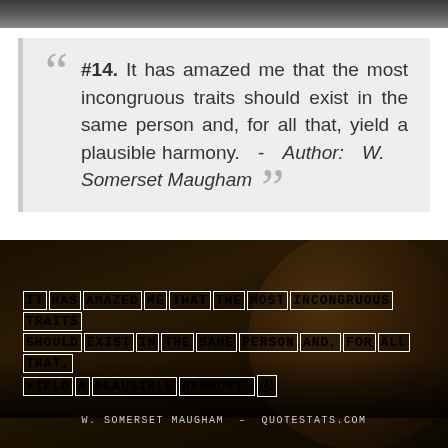[Figure (photo): Dark image strip at the top of the page, appears to be a dark scene fragment.]
#14. It has amazed me that the most incongruous traits should exist in the same person and, for all that, yield a plausible harmony. - Author: W. Somerset Maugham
[Figure (photo): Dark atmospheric photo with silhouettes of people and a large globe/sphere shape. Overlaid stencil-style text reads: IT HAS AMAZED ME THAT THE MOST INCONGRUOUS TRAITS SHOULD EXIST IN THE SAME PERSON AND, FOR ALL THAT, YIELD A PLAUSIBLE HARMONY. Attribution: W. SOMERSET MAUGHAM - QUOTESTATS.COM]